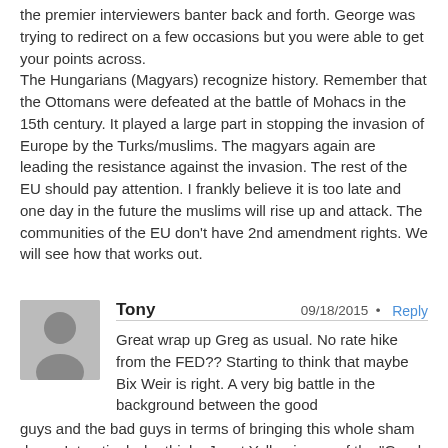the premier interviewers banter back and forth. George was trying to redirect on a few occasions but you were able to get your points across. The Hungarians (Magyars) recognize history. Remember that the Ottomans were defeated at the battle of Mohacs in the 15th century. It played a large part in stopping the invasion of Europe by the Turks/muslims. The magyars again are leading the resistance against the invasion. The rest of the EU should pay attention. I frankly believe it is too late and one day in the future the muslims will rise up and attack. The communities of the EU don't have 2nd amendment rights. We will see how that works out.
Tony  09/18/2015  Reply
Great wrap up Greg as usual. No rate hike from the FED?? Starting to think that maybe Bix Weir is right. A very big battle in the background between the good guys and the bad guys in terms of bringing this whole sham down. Interstingly, he thinks Janet Yellen is one of the "Good guys". I think it's time to bring him back on again.